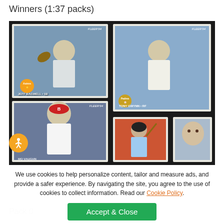Winners (1:37 packs)
[Figure (photo): Four Fleer 94 baseball trading cards displayed on a dark surface. Top left: Jeff Bagwell, Houston Astros. Top right: Tony Gwynn, San Diego Padres. Bottom left: Mo Vaughn, Boston Red Sox (with accessibility icon overlay). Bottom center and right: two additional cards featuring batters.]
We use cookies to help personalize content, tailor and measure ads, and provide a safer experience. By navigating the site, you agree to the use of cookies to collect information. Read our Cookie Policy.
Pack 0